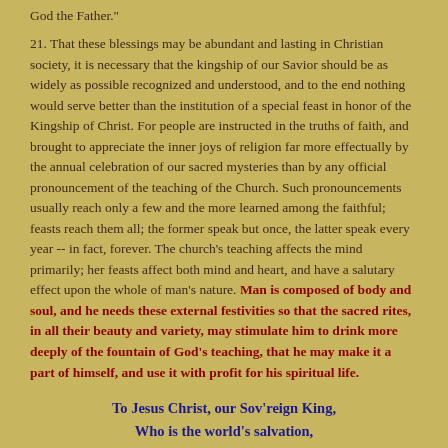God the Father."
21. That these blessings may be abundant and lasting in Christian society, it is necessary that the kingship of our Savior should be as widely as possible recognized and understood, and to the end nothing would serve better than the institution of a special feast in honor of the Kingship of Christ. For people are instructed in the truths of faith, and brought to appreciate the inner joys of religion far more effectually by the annual celebration of our sacred mysteries than by any official pronouncement of the teaching of the Church. Such pronouncements usually reach only a few and the more learned among the faithful; feasts reach them all; the former speak but once, the latter speak every year -- in fact, forever. The church's teaching affects the mind primarily; her feasts affect both mind and heart, and have a salutary effect upon the whole of man's nature. Man is composed of body and soul, and he needs these external festivities so that the sacred rites, in all their beauty and variety, may stimulate him to drink more deeply of the fountain of God's teaching, that he may make it a part of himself, and use it with profit for his spiritual life.
To Jesus Christ, our Sov'reign King,
Who is the world's salvation,